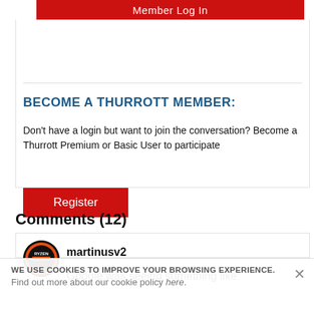Member Log In
BECOME A THURROTT MEMBER:
Don't have a login but want to join the conversation? Become a Thurrott Premium or Basic User to participate
Register
Comments (12)
martinusv2
Google was seeing something like
WE USE COOKIES TO IMPROVE YOUR BROWSING EXPERIENCE.
Find out more about our cookie policy here.